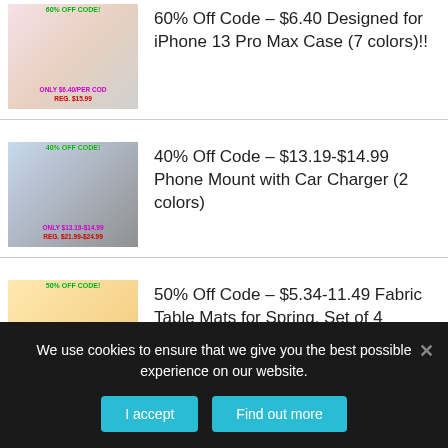[Figure (photo): Product image for iPhone 13 Pro Max Case with price overlay showing 60% off code, ONLY $6.40, REG. $15.99]
60% Off Code – $6.40  Designed for iPhone 13 Pro Max Case (7 colors)!!
[Figure (photo): Product image for Phone Mount with Car Charger with price overlay showing 40% off code, ONLY $13.19-$14.99, REG. $21.99-$24.99]
40% Off Code – $13.19-$14.99 Phone Mount with Car Charger (2 colors)
[Figure (photo): Product image for Fabric Table Mats for Spring with price overlay showing 50% off code, ONLY $5.34-$11.49, REG. $10.68-$22.99]
50% Off Code – $5.34-11.49 Fabric Table Mats for Spring, Set of 4
We use cookies to ensure that we give you the best possible experience on our website.
I accept
Find out more